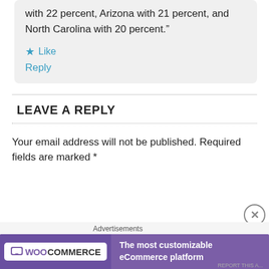with 22 percent, Arizona with 21 percent, and North Carolina with 20 percent.”
★ Like
Reply
LEAVE A REPLY
Your email address will not be published. Required fields are marked *
[Figure (screenshot): WooCommerce advertisement banner: purple background with WooCommerce logo on left and text 'The most customizable eCommerce platform' on right]
Advertisements